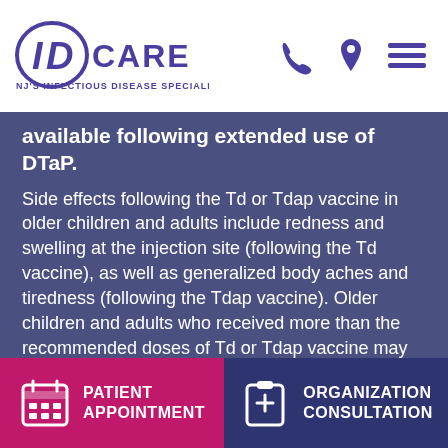[Figure (logo): ID CARE logo with tagline NJ's Infectious Disease Specialists, and navigation icons (phone, location, menu)]
available following extended use of DTaP.
Side effects following the Td or Tdap vaccine in older children and adults include redness and swelling at the injection site (following the Td vaccine), as well as generalized body aches and tiredness (following the Tdap vaccine). Older children and adults who received more than the recommended doses of Td or Tdap vaccine may experience increased local reactions, such as painful swelling of the arm — this is due to the high levels of tetanus antibody in their blood.
PATIENT APPOINTMENT
ORGANIZATION CONSULTATION